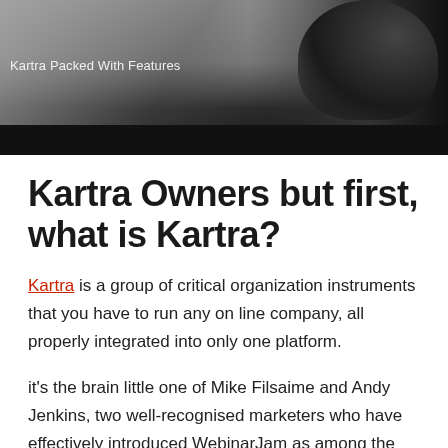[Figure (photo): Banner image showing a person in dark clothing against a gradient background, with text 'Kartra Packed With Features' overlaid on the lighter left portion.]
Kartra Owners but first, what is Kartra?
Kartra is a group of critical organization instruments that you have to run any on line company, all properly integrated into only one platform.
it's the brain little one of Mike Filsaime and Andy Jenkins, two well-recognised marketers who have effectively introduced WebinarJam as among the